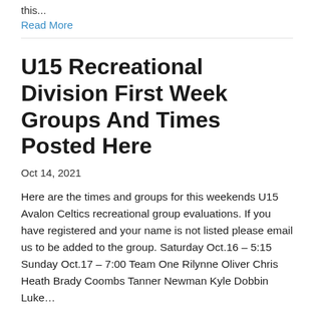this...
Read More
U15 Recreational Division First Week Groups And Times Posted Here
Oct 14, 2021
Here are the times and groups for this weekends U15 Avalon Celtics recreational group evaluations. If you have registered and your name is not listed please email us to be added to the group. Saturday Oct.16 – 5:15 Sunday Oct.17 – 7:00 Team One Rilynne Oliver Chris Heath Brady Coombs Tanner Newman Kyle Dobbin Luke...